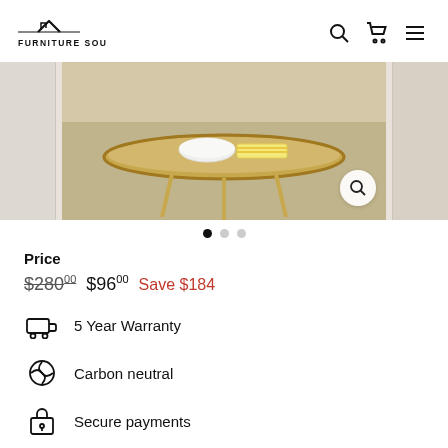[Figure (logo): Furniture Source logo with house icon above text]
[Figure (photo): Round gold side table with white bowl and striped book on top, shown in a living room setting. Flanked by partial views of adjacent product images. Zoom/magnify button visible.]
Price
$280.00  $96.00  Save $184
5 Year Warranty
Carbon neutral
Secure payments